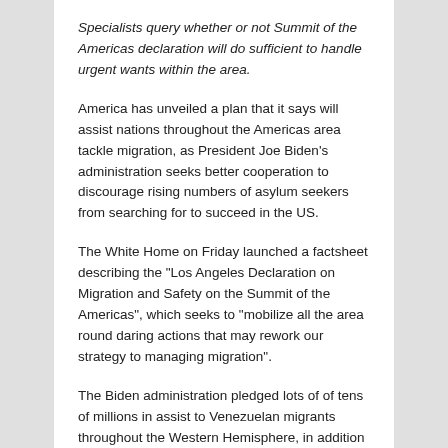Specialists query whether or not Summit of the Americas declaration will do sufficient to handle urgent wants within the area.
America has unveiled a plan that it says will assist nations throughout the Americas area tackle migration, as President Joe Biden’s administration seeks better cooperation to discourage rising numbers of asylum seekers from searching for to succeed in the US.
The White Home on Friday launched a factsheet describing the “Los Angeles Declaration on Migration and Safety on the Summit of the Americas”, which seeks to “mobilize all the area round daring actions that may rework our strategy to managing migration”.
The Biden administration pledged lots of of tens of millions in assist to Venezuelan migrants throughout the Western Hemisphere, in addition to programmes to assist momentary family-based visas for Cubans and Haitians and ease the hiring of Central American staff, amongst